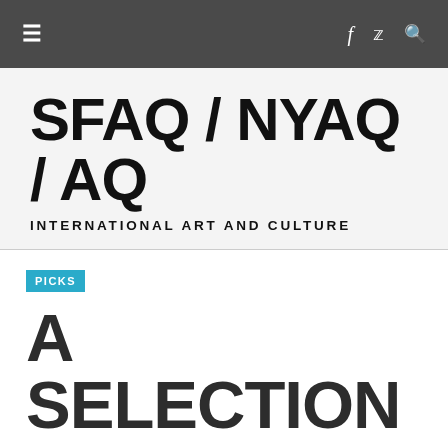≡  f  🐦  🔍
SFAQ / NYAQ / AQ
INTERNATIONAL ART AND CULTURE
PICKS
A SELECTION OF OPENINGS AND CURRRENT EXHIBITIONS